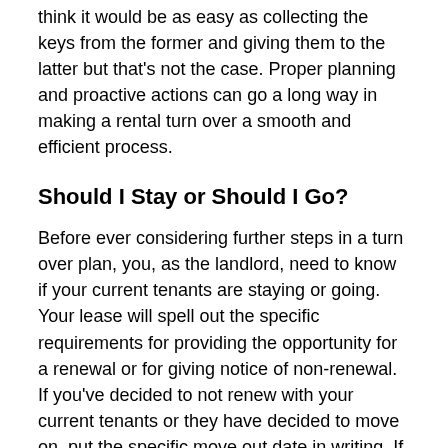think it would be as easy as collecting the keys from the former and giving them to the latter but that's not the case. Proper planning and proactive actions can go a long way in making a rental turn over a smooth and efficient process.
Should I Stay or Should I Go?
Before ever considering further steps in a turn over plan, you, as the landlord, need to know if your current tenants are staying or going. Your lease will spell out the specific requirements for providing the opportunity for a renewal or for giving notice of non-renewal. If you've decided to not renew with your current tenants or they have decided to move on, put the specific move out date in writing. If you are not renewing your lease, send the notice via certified mail with a return receipt. If your tenants have given you notice, have them send it to you in writing with a signature.